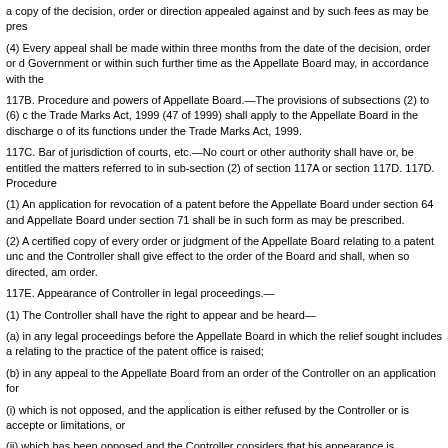a copy of the decision, order or direction appealed against and by such fees as may be pres
(4) Every appeal shall be made within three months from the date of the decision, order or d Government or within such further time as the Appellate Board may, in accordance with the
117B. Procedure and powers of Appellate Board.—The provisions of subsections (2) to (6) c the Trade Marks Act, 1999 (47 of 1999) shall apply to the Appellate Board in the discharge o of its functions under the Trade Marks Act, 1999.
117C. Bar of jurisdiction of courts, etc.—No court or other authority shall have or, be entitled the matters referred to in sub-section (2) of section 117A or section 117D. 117D. Procedure
(1) An application for revocation of a patent before the Appellate Board under section 64 and Appellate Board under section 71 shall be in such form as may be prescribed.
(2) A certified copy of every order or judgment of the Appellate Board relating to a patent unc and the Controller shall give effect to the order of the Board and shall, when so directed, am order.
117E. Appearance of Controller in legal proceedings.—
(1) The Controller shall have the right to appear and be heard—
(a) in any legal proceedings before the Appellate Board in which the relief sought includes a relating to the practice of the patent office is raised;
(b) in any appeal to the Appellate Board from an order of the Controller on an application for
(i) which is not opposed, and the application is either refused by the Controller or is accepte or limitations, or
(ii) which has been opposed and the Controller considers that his appearance is necessary i if so directed by the Appellate Board.
(2) Unless the Appellate Board otherwise directs, the Controller may, in lieu of appearing, su as he thinks proper of the proceedings before him relating to the matter in issue or of the gro patent office in like cases, or of other matters relevant to the issues and within his knowledg shall be evidence in the proceeding.